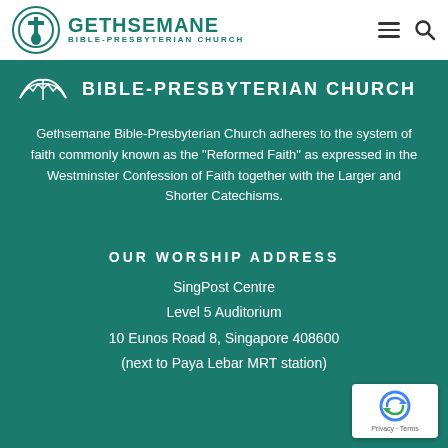GETHSEMANE BIBLE-PRESBYTERIAN CHURCH
BIBLE-PRESBYTERIAN CHURCH
Gethsemane Bible-Presbyterian Church adheres to the system of faith commonly known as the “Reformed Faith” as expressed in the Westminster Confession of Faith together with the Larger and Shorter Catechisms.
OUR WORSHIP ADDRESS
SingPost Centre
Level 5 Auditorium
10 Eunos Road 8, Singapore 408600
(next to Paya Lebar MRT station)